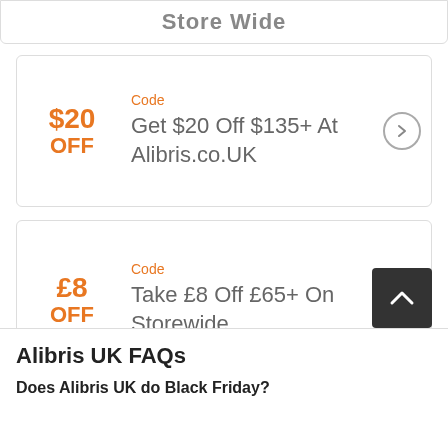Store Wide
Code
$20 OFF
Get $20 Off $135+ At Alibris.co.UK
Code
£8 OFF
Take £8 Off £65+ On Storewide
Alibris UK FAQs
Does Alibris UK do Black Friday?